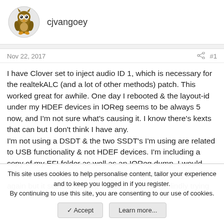[Figure (illustration): Cartoon owl avatar icon for user cjvangoey]
cjvangoey
Nov 22, 2017
#1
I have Clover set to inject audio ID 1, which is necessary for the realtekALC (and a lot of other methods) patch. This worked great for awhile. One day I rebooted & the layout-id under my HDEF devices in IOReg seems to be always 5 now, and I'm not sure what's causing it. I know there's kexts that can but I don't think I have any.
I'm not using a DSDT & the two SSDT's I'm using are related to USB functionality & not HDEF devices. I'm including a copy of my EFI folder as well as an IOReg dump, I would absolutely love to track this down and have working sound again but it seems at this point that I'm kind of blindly trying
This site uses cookies to help personalise content, tailor your experience and to keep you logged in if you register.
By continuing to use this site, you are consenting to our use of cookies.